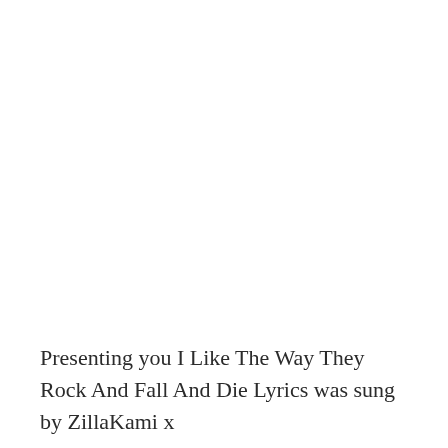Presenting you I Like The Way They Rock And Fall And Die Lyrics was sung by ZillaKami x